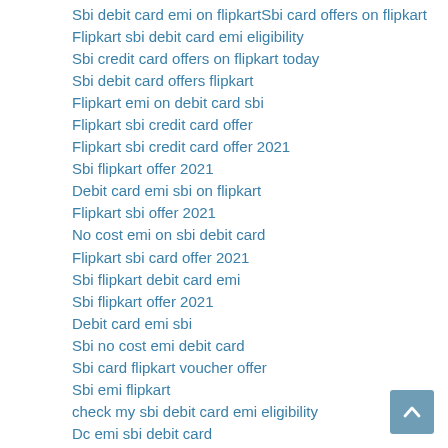Sbi debit card emi on flipkartSbi card offers on flipkart
Flipkart sbi debit card emi eligibility
Sbi credit card offers on flipkart today
Sbi debit card offers flipkart
Flipkart emi on debit card sbi
Flipkart sbi credit card offer
Flipkart sbi credit card offer 2021
Sbi flipkart offer 2021
Debit card emi sbi on flipkart
Flipkart sbi offer 2021
No cost emi on sbi debit card
Flipkart sbi card offer 2021
Sbi flipkart debit card emi
Sbi flipkart offer 2021
Debit card emi sbi
Sbi no cost emi debit card
Sbi card flipkart voucher offer
Sbi emi flipkart
check my sbi debit card emi eligibility
Dc emi sbi debit card
Sbi debit card emi eligibility check Flipkart
Flipkart 10 discount on sbi card
Sbi flipkart emi debit card
Flipkart sbi credit card
Sbi debit card emi flipkart eligibility